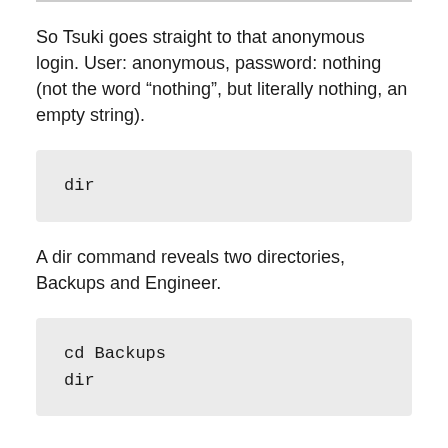So Tsuki goes straight to that anonymous login. User: anonymous, password: nothing (not the word “nothing”, but literally nothing, an empty string).
dir
A dir command reveals two directories, Backups and Engineer.
cd Backups
dir